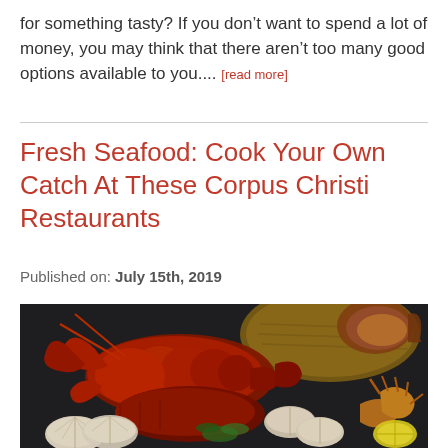for something tasty? If you don't want to spend a lot of money, you may think that there aren't too many good options available to you.... [read more]
Fresh Seafood: Cook Your Own Catch At These Corpus Christi Restaurants
Published on: July 15th, 2019
[Figure (photo): Cooked red lobsters with clam shells, crab legs, and a piece of fish on a wooden board, arranged on a dark surface — a seafood spread.]